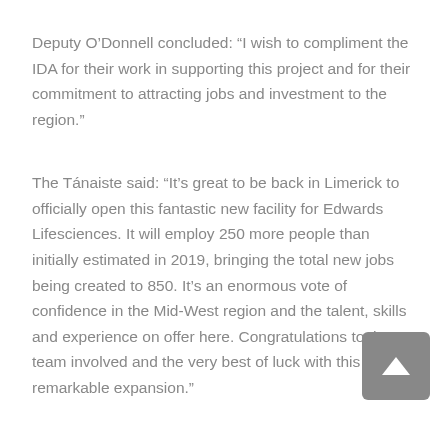Deputy O’Donnell concluded: “I wish to compliment the IDA for their work in supporting this project and for their commitment to attracting jobs and investment to the region.”
The Tánaiste said: “It’s great to be back in Limerick to officially open this fantastic new facility for Edwards Lifesciences. It will employ 250 more people than initially estimated in 2019, bringing the total new jobs being created to 850. It’s an enormous vote of confidence in the Mid-West region and the talent, skills and experience on offer here. Congratulations to the team involved and the very best of luck with this remarkable expansion.”